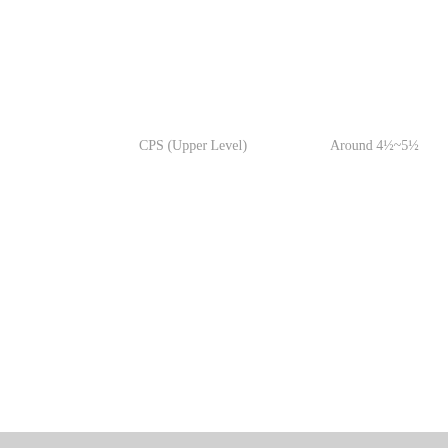CPS (Upper Level)
Around 4½~5½